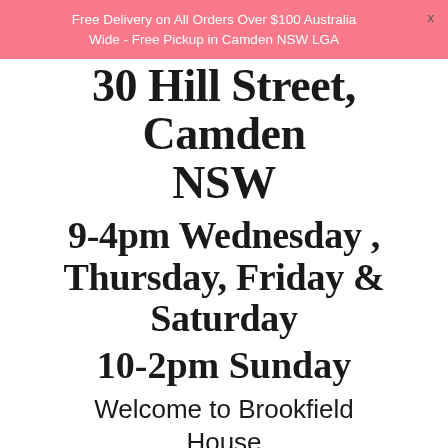Free Delivery on All Orders Over $100 Australia Wide - Free Pickup in Camden NSW LGA
30 Hill Street, Camden NSW
9-4pm Wednesday , Thursday, Friday & Saturday
10-2pm Sunday
Welcome to Brookfield House